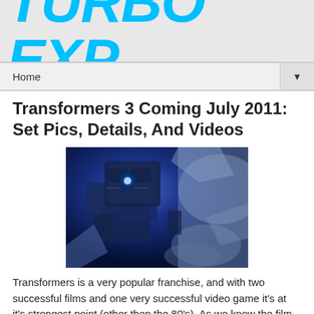TURBO EXP
Home
Transformers 3 Coming July 2011: Set Pics, Details, And Videos
[Figure (photo): Close-up of a blue-tinted Transformer robot face/head partially buried in rubble, with a glowing blue eye]
Transformers is a very popular franchise, and with two successful films and one very successful video game it's at it's strongest point (other then the 80's). As we know the film will return Optimus, Bumblebee, Ratchet, Ironhide,